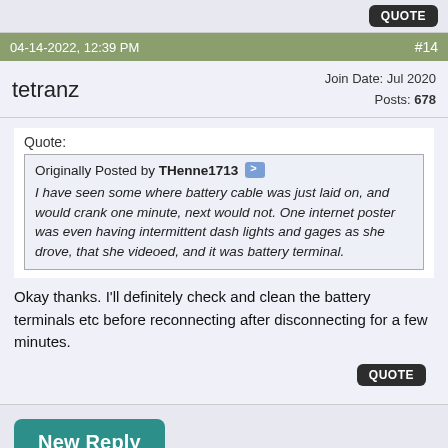QUOTE
04-14-2022, 12:39 PM  #14
tetranz   Join Date: Jul 2020  Posts: 678
Quote:
Originally Posted by THenne1713
I have seen some where battery cable was just laid on, and would crank one minute, next would not. One internet poster was even having intermittent dash lights and gages as she drove, that she videoed, and it was battery terminal.
Okay thanks. I'll definitely check and clean the battery terminals etc before reconnecting after disconnecting for a few minutes.
QUOTE
New Reply
Tags
e450, gas, light, power